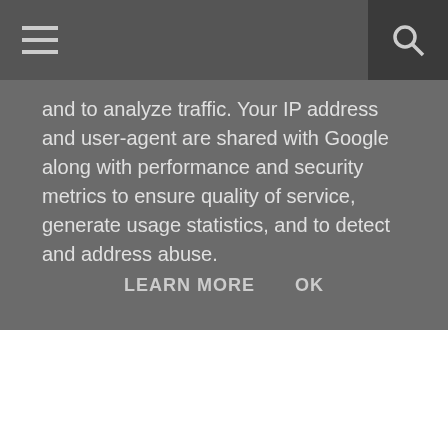and to analyze traffic. Your IP address and user-agent are shared with Google along with performance and security metrics to ensure quality of service, generate usage statistics, and to detect and address abuse.
LEARN MORE    OK
{trailer}